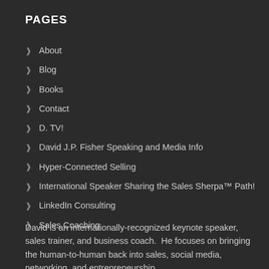PAGES
About
Blog
Books
Contact
D. TV!
David J.P. Fisher Speaking and Media Info
Hyper-Connected Selling
International Speaker Sharing the Sales Sherpa™ Path!
LinkedIn Consulting
Sales Coaching
David is an internationally-recognized keynote speaker, sales trainer, and business coach.  He focuses on bringing the human-to-human back into sales, social media, networking, and entrepreneurship.